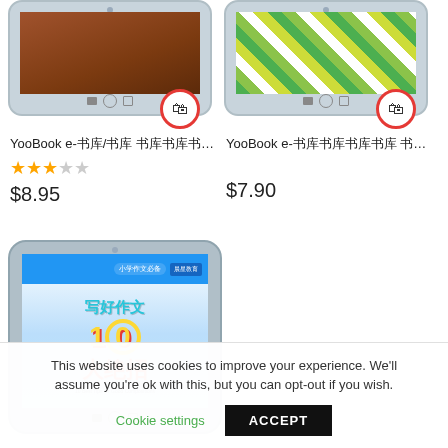[Figure (screenshot): Product card 1: YooBook e-reader tablet device showing a brown book cover, with a red-circled shopping cart icon overlay. Title: YooBook e-书库/书库 书库书库书库书库 / ... Rating: 3 stars out of 5. Price: $8.95]
YooBook e-书库/书库 书库书库书库书库 / ...
★★★☆☆
$8.95
[Figure (screenshot): Product card 2: YooBook e-reader tablet device showing a green patterned book cover, with a red-circled shopping cart icon overlay. Title: YooBook e-书库书库书库书库 书库书库.... Price: $7.90]
YooBook e-书库书库书库书库 书库书库....
$7.90
[Figure (screenshot): Product card 3 (bottom): YooBook e-reader tablet showing a Chinese language book titled '写好作文10大绝招' (10 Best Tips for Good Compositions)]
This website uses cookies to improve your experience. We'll assume you're ok with this, but you can opt-out if you wish.
Cookie settings
ACCEPT